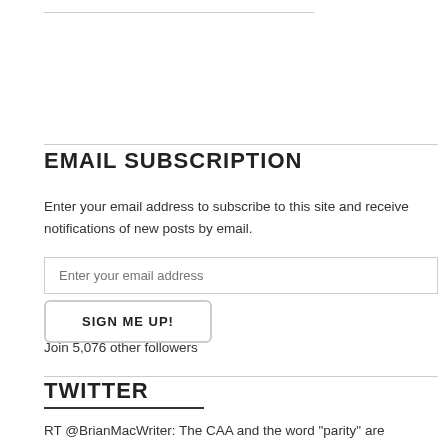EMAIL SUBSCRIPTION
Enter your email address to subscribe to this site and receive notifications of new posts by email.
Join 5,076 other followers
TWITTER
RT @BrianMacWriter: The CAA and the word "parity" are synonyms I break down one of the FCS' top conferences, the